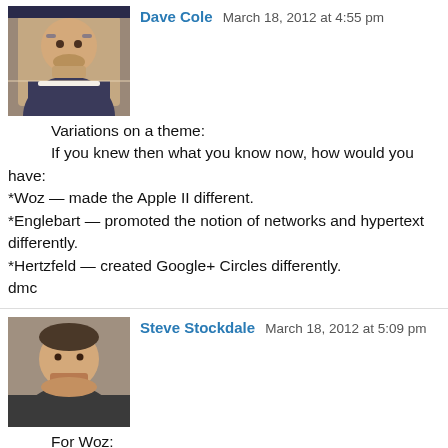[Figure (photo): Avatar photo of Dave Cole – middle-aged man with glasses and beard]
Dave Cole  March 18, 2012 at 4:55 pm
Variations on a theme:
If you knew then what you know now, how would you have:
*Woz — made the Apple II different.
*Englebart — promoted the notion of networks and hypertext differently.
*Hertzfeld — created Google+ Circles differently.
dmc
[Figure (photo): Avatar photo of Steve Stockdale – man with close-cropped hair and goatee]
Steve Stockdale  March 18, 2012 at 5:09 pm
For Woz:
What motivated you during the Homebrew Computer Club days, and what motivates you now?
[Figure (photo): Avatar photo of James – illustrated TARDIS Doctor Who image]
James  March 18, 2012 at 5:19 pm
What an incredible experience this will be. Your kids are very lucky to get to be exposed to the...